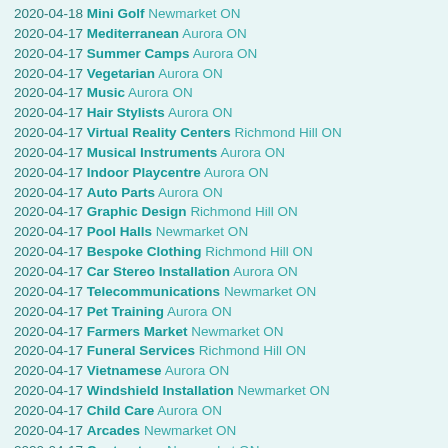2020-04-18 Mini Golf Newmarket ON
2020-04-17 Mediterranean Aurora ON
2020-04-17 Summer Camps Aurora ON
2020-04-17 Vegetarian Aurora ON
2020-04-17 Music Aurora ON
2020-04-17 Hair Stylists Aurora ON
2020-04-17 Virtual Reality Centers Richmond Hill ON
2020-04-17 Musical Instruments Aurora ON
2020-04-17 Indoor Playcentre Aurora ON
2020-04-17 Auto Parts Aurora ON
2020-04-17 Graphic Design Richmond Hill ON
2020-04-17 Pool Halls Newmarket ON
2020-04-17 Bespoke Clothing Richmond Hill ON
2020-04-17 Car Stereo Installation Aurora ON
2020-04-17 Telecommunications Newmarket ON
2020-04-17 Pet Training Aurora ON
2020-04-17 Farmers Market Newmarket ON
2020-04-17 Funeral Services Richmond Hill ON
2020-04-17 Vietnamese Aurora ON
2020-04-17 Windshield Installation Newmarket ON
2020-04-17 Child Care Aurora ON
2020-04-17 Arcades Newmarket ON
2020-04-17 Contractors Newmarket ON